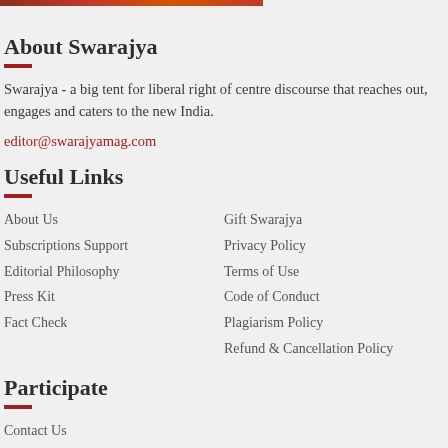[Figure (photo): Partial image strip visible at top of page]
About Swarajya
Swarajya - a big tent for liberal right of centre discourse that reaches out, engages and caters to the new India.
editor@swarajyamag.com
Useful Links
About Us
Subscriptions Support
Editorial Philosophy
Press Kit
Fact Check
Gift Swarajya
Privacy Policy
Terms of Use
Code of Conduct
Plagiarism Policy
Refund & Cancellation Policy
Participate
Contact Us